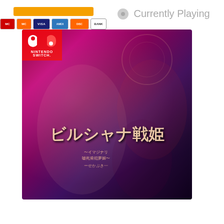[Figure (other): Payment method bar and credit card icons: orange bar, MasterCard, MasterCard, VISA, American Express, Discover, BANK]
Currently Playing
[Figure (photo): Nintendo Switch game cover art for a Japanese otome/visual novel game titled 'ビルシャナ戦姫' (Birusyana Senki), featuring anime-style characters including a silver-haired male lead, red-haired male, dark-haired female, and pink-haired character, with dramatic fantasy artwork and the Nintendo Switch badge in the top-left corner.]